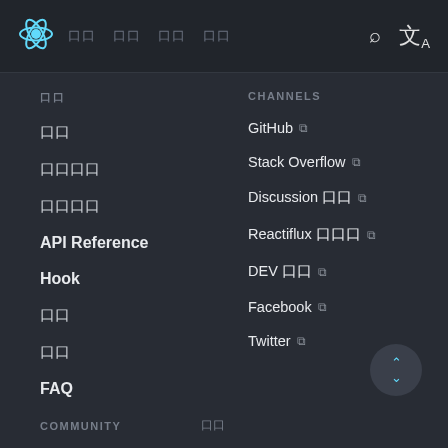React logo | 개요 | API | 커뮤니티 | 블로그 | 검색 | 번역
개요
설치
빠른 시작
고급 가이드
API Reference
Hook
테스팅
기여하기
FAQ
CHANNELS
GitHub ↗
Stack Overflow ↗
Discussion 포럼 ↗
Reactiflux 채팅 ↗
DEV 커뮤 ↗
Facebook ↗
Twitter ↗
COMMUNITY | 더보기